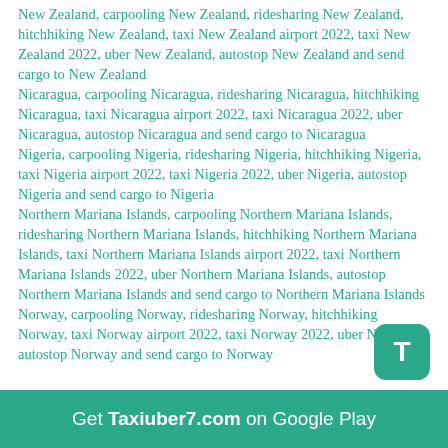New Zealand, carpooling New Zealand, ridesharing New Zealand, hitchhiking New Zealand, taxi New Zealand airport 2022, taxi New Zealand 2022, uber New Zealand, autostop New Zealand and send cargo to New Zealand
Nicaragua, carpooling Nicaragua, ridesharing Nicaragua, hitchhiking Nicaragua, taxi Nicaragua airport 2022, taxi Nicaragua 2022, uber Nicaragua, autostop Nicaragua and send cargo to Nicaragua
Nigeria, carpooling Nigeria, ridesharing Nigeria, hitchhiking Nigeria, taxi Nigeria airport 2022, taxi Nigeria 2022, uber Nigeria, autostop Nigeria and send cargo to Nigeria
Northern Mariana Islands, carpooling Northern Mariana Islands, ridesharing Northern Mariana Islands, hitchhiking Northern Mariana Islands, taxi Northern Mariana Islands airport 2022, taxi Northern Mariana Islands 2022, uber Northern Mariana Islands, autostop Northern Mariana Islands and send cargo to Northern Mariana Islands
Norway, carpooling Norway, ridesharing Norway, hitchhiking Norway, taxi Norway airport 2022, taxi Norway 2022, uber Norway, autostop Norway and send cargo to Norway
Get Taxiuber7.com on Google Play